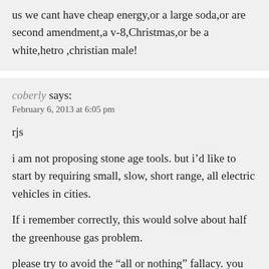us we cant have cheap energy,or a large soda,or are second amendment,a v-8,Christmas,or be a white,hetro ,christian male!
coberly says:
February 6, 2013 at 6:05 pm
rjs
i am not proposing stone age tools. but i’d like to start by requiring small, slow, short range, all electric vehicles in cities.
If i remember correctly, this would solve about half the greenhouse gas problem.
please try to avoid the “all or nothing” fallacy. you